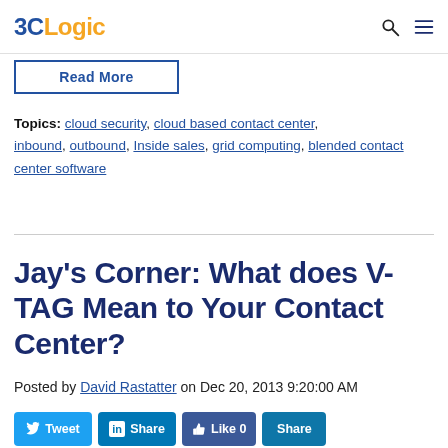3CLogic
Read More
Topics: cloud security, cloud based contact center, inbound, outbound, Inside sales, grid computing, blended contact center software
Jay's Corner: What does V-TAG Mean to Your Contact Center?
Posted by David Rastatter on Dec 20, 2013 9:20:00 AM
Tweet  Share  Like 0  Share